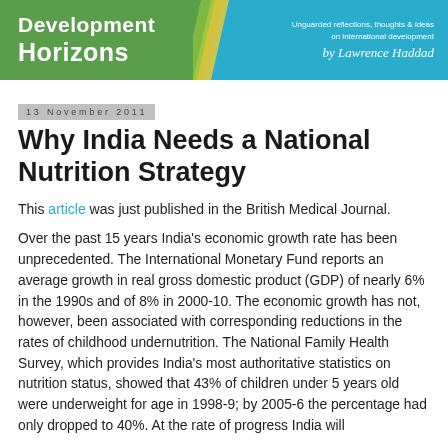Development Horizons — Unguarded reflections, thoughts & ideas on international development by Lawrence Haddad
13 November 2011
Why India Needs a National Nutrition Strategy
This article was just published in the British Medical Journal.
Over the past 15 years India's economic growth rate has been unprecedented. The International Monetary Fund reports an average growth in real gross domestic product (GDP) of nearly 6% in the 1990s and of 8% in 2000-10. The economic growth has not, however, been associated with corresponding reductions in the rates of childhood undernutrition. The National Family Health Survey, which provides India's most authoritative statistics on nutrition status, showed that 43% of children under 5 years old were underweight for age in 1998-9; by 2005-6 the percentage had only dropped to 40%. At the rate of progress India will